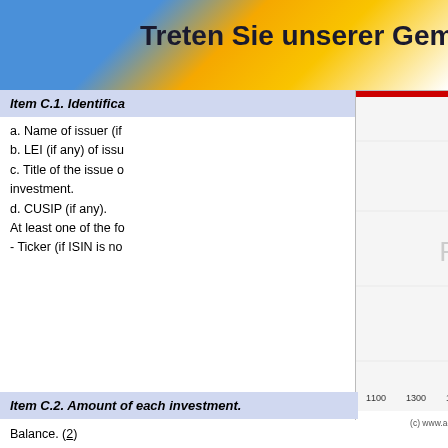Treten Sie unserer Gemeinschaft bei
Item C.1. Identification of investment.
a. Name of issuer (if any).
b. LEI (if any) of issuer.
c. Title of the issue or description of the investment.
d. CUSIP (if any).
At least one of the following:
- Ticker (if ISIN is not available).
[Figure (continuous-plot): Stock price line chart showing intraday price movement between approximately 1100 and 2100 time axis, price range 16.3 to 16.45, source: www.advfn.com]
Item C.2. Amount of each investment.
Balance. (2)
a. Balance
b. Units
c. Description of other units.
d. Currency. (3)
e. Value. (4)
f. Exchange rate.
g. Percentage value compared to net assets of the Fund.
[Figure (screenshot): ADVFN Trades (Time & Sales) panel showing logo and trades table with columns: Num, Exch, Price, Size, Type, C, T, Bid, Offer, Time. Rows show trades at nyse for prices 70.07-70.0656.]